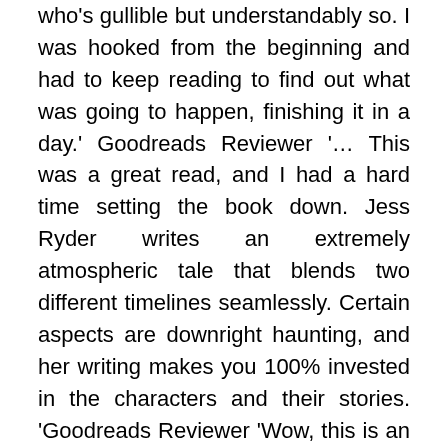who's gullible but understandably so. I was hooked from the beginning and had to keep reading to find out what was going to happen, finishing it in a day.' Goodreads Reviewer '… This was a great read, and I had a hard time setting the book down. Jess Ryder writes an extremely atmospheric tale that blends two different timelines seamlessly. Certain aspects are downright haunting, and her writing makes you 100% invested in the characters and their stories. 'Goodreads Reviewer 'Wow, this is an absolutely fantastic thriller! Not only is it highly addictive, but Jess Ryder also conveys some very serious topics such as domestic violence, brilliantly and sensitively into this story… This is brilliant book; gripping, character-driven, wonderfully written. I've been in a bit of a reading slump when it comes to thrillers lately, but this one really is a standout novel.' Super